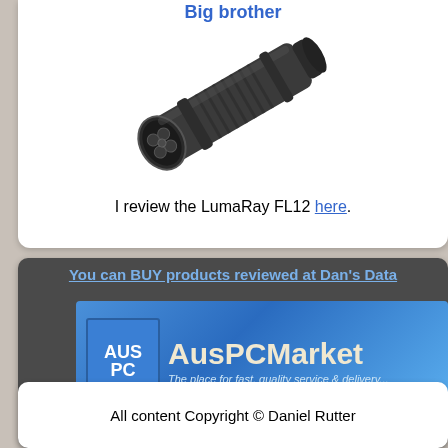Big brother
[Figure (photo): Photo of a LumaRay FL12 flashlight/torch device, dark grey/black cylindrical multi-LED flashlight angled diagonally]
I review the LumaRay FL12 here.
You can BUY products reviewed at Dan's Data
[Figure (logo): AusPCMarket banner logo with text 'AusPCMarket - The place for fast, quality service & delivery...' on blue gradient background]
All content Copyright © Daniel Rutter